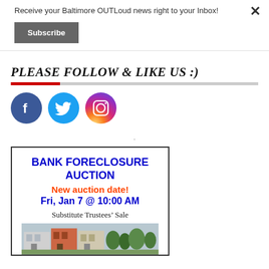Receive your Baltimore OUTLoud news right to your Inbox!
Subscribe
PLEASE FOLLOW & LIKE US :)
[Figure (logo): Facebook, Twitter, and Instagram social media icons side by side]
.
BANK FORECLOSURE AUCTION
New auction date!
Fri, Jan 7 @ 10:00 AM
Substitute Trustees' Sale
[Figure (photo): Photo of row houses/townhouses in Baltimore]